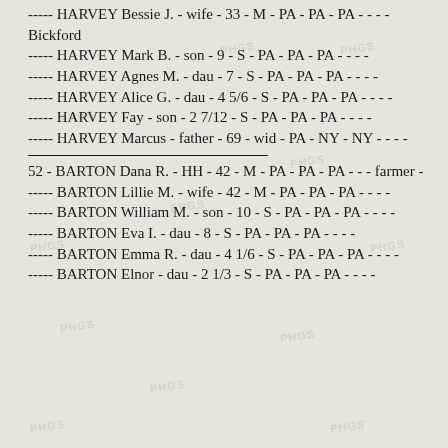----- HARVEY Bessie J. - wife - 33 - M - PA - PA - PA - - - - Bickford
----- HARVEY Mark B. - son - 9 - S - PA - PA - PA - - - -
----- HARVEY Agnes M. - dau - 7 - S - PA - PA - PA - - - -
----- HARVEY Alice G. - dau - 4 5/6 - S - PA - PA - PA - - - -
----- HARVEY Fay - son - 2 7/12 - S - PA - PA - PA - - - -
----- HARVEY Marcus - father - 69 - wid - PA - NY - NY - - - -
52 - BARTON Dana R. - HH - 42 - M - PA - PA - PA - - - farmer -
----- BARTON Lillie M. - wife - 42 - M - PA - PA - PA - - - -
----- BARTON William M. - son - 10 - S - PA - PA - PA - - - -
----- BARTON Eva I. - dau - 8 - S - PA - PA - PA - - - -
----- BARTON Emma R. - dau - 4 1/6 - S - PA - PA - PA - - - -
----- BARTON Elnor - dau - 2 1/3 - S - PA - PA - PA - - - -